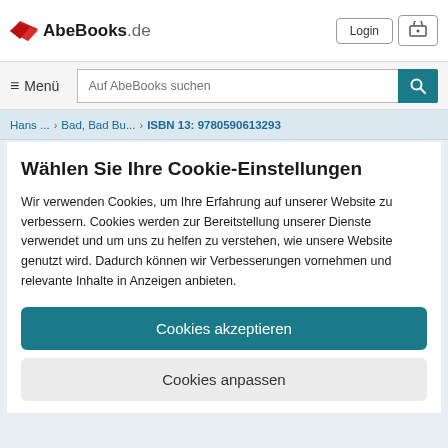AbeBooks.de — Login, Cart, Menü, Auf AbeBooks suchen
Hans ... › Bad, Bad Bu... › ISBN 13: 9780590613293
Wählen Sie Ihre Cookie-Einstellungen
Wir verwenden Cookies, um Ihre Erfahrung auf unserer Website zu verbessern. Cookies werden zur Bereitstellung unserer Dienste verwendet und um uns zu helfen zu verstehen, wie unsere Website genutzt wird. Dadurch können wir Verbesserungen vornehmen und relevante Inhalte in Anzeigen anbieten.
Cookies akzeptieren
Cookies anpassen